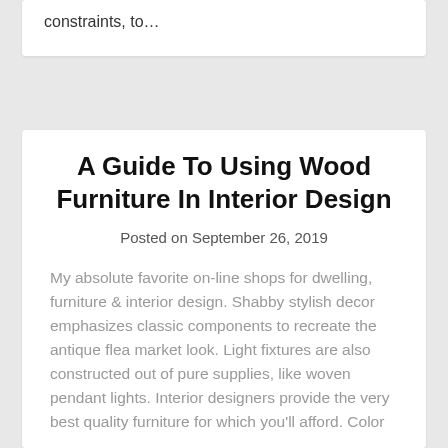constraints, to…
A Guide To Using Wood Furniture In Interior Design
Posted on September 26, 2019
My absolute favorite on-line shops for dwelling, furniture & interior design. Shabby stylish decor emphasizes classic components to recreate the antique flea market look. Light fixtures are also constructed out of pure supplies, like woven pendant lights. Interior designers provide the very best quality furniture for which you'll afford. Color